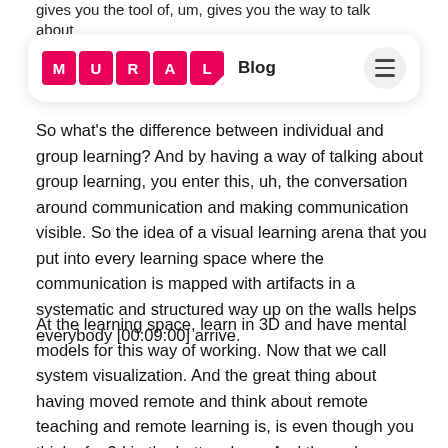gives you the tool of, um, gives you the way to talk about le
[Figure (logo): MURAL Blog navigation bar with pink MURAL logo tiles and hamburger menu]
So what's the difference between individual and group learning? And by having a way of talking about group learning, you enter this, uh, the conversation around communication and making communication visible. So the idea of a visual learning arena that you put into every learning space where the communication is mapped with artifacts in a systematic and structured way up on the walls helps everybody [00:09:00] arrive.
At the learning space, learn in 3D and have mental models for this way of working. Now that we call system visualization. And the great thing about having moved remote and think about remote teaching and remote learning is, is even though you think of a 3d in the bottom here. And then when we move remote and we sit apart, we